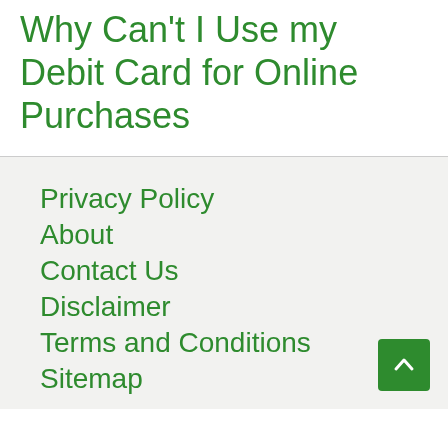Why Can't I Use my Debit Card for Online Purchases
Privacy Policy
About
Contact Us
Disclaimer
Terms and Conditions
Sitemap